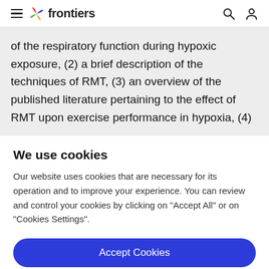frontiers
of the respiratory function during hypoxic exposure, (2) a brief description of the techniques of RMT, (3) an overview of the published literature pertaining to the effect of RMT upon exercise performance in hypoxia, (4)
We use cookies
Our website uses cookies that are necessary for its operation and to improve your experience. You can review and control your cookies by clicking on "Accept All" or on "Cookies Settings".
Accept Cookies
Cookies Settings